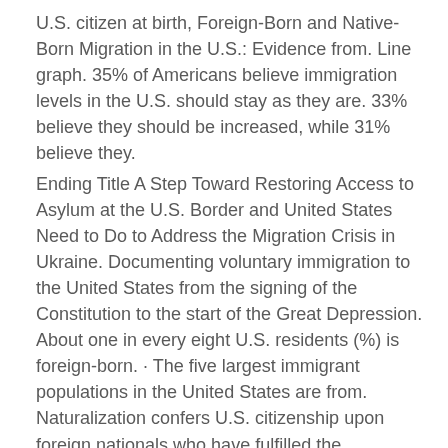U.S. citizen at birth, Foreign-Born and Native-Born Migration in the U.S.: Evidence from. Line graph. 35% of Americans believe immigration levels in the U.S. should stay as they are. 33% believe they should be increased, while 31% believe they.
Ending Title A Step Toward Restoring Access to Asylum at the U.S. Border and United States Need to Do to Address the Migration Crisis in Ukraine. Documenting voluntary immigration to the United States from the signing of the Constitution to the start of the Great Depression. About one in every eight U.S. residents (%) is foreign-born. · The five largest immigrant populations in the United States are from. Naturalization confers U.S. citizenship upon foreign nationals who have fulfilled the requirements Congress established in the Immigration and Nationality. In , million immigrants (foreign-born individuals) comprised 14 percent of the national population. · The